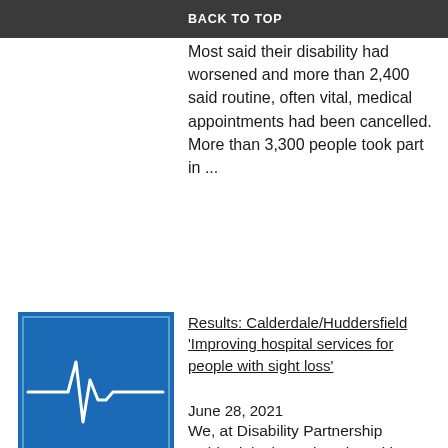BACK TO TOP
Most said their disability had worsened and more than 2,400 said routine, often vital, medical appointments had been cancelled. More than 3,300 people took part in ...
[Figure (logo): Blue square icon with white ECG/heartbeat waveform line on dark blue background]
Results: Calderdale/Huddersfield 'Improving hospital services for people with sight loss'
June 28, 2021
We, at Disability Partnership Calderdale, in conjunction with Halifax Society for the Blind, recently ran a Focus Group looking at 'Improving hospital services for people with sight loss'. We are now ready to share the feedback we received, which has been positively and gratefully received by the ...